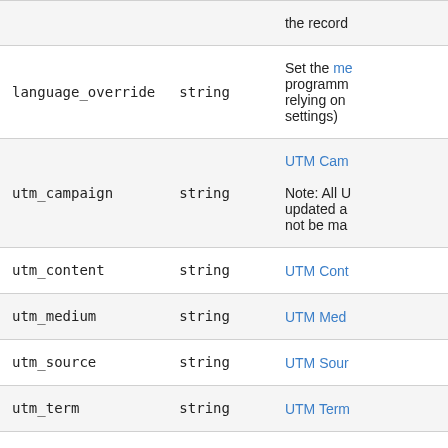| Field | Type | Description |
| --- | --- | --- |
|  |  | the record |
| language_override | string | Set the me programm relying on settings) |
| utm_campaign | string | UTM Cam

Note: All U updated a not be ma |
| utm_content | string | UTM Cont |
| utm_medium | string | UTM Med |
| utm_source | string | UTM Sour |
| utm_term | string | UTM Term |
| avatar | avatar object | Set the av associated (typically o |